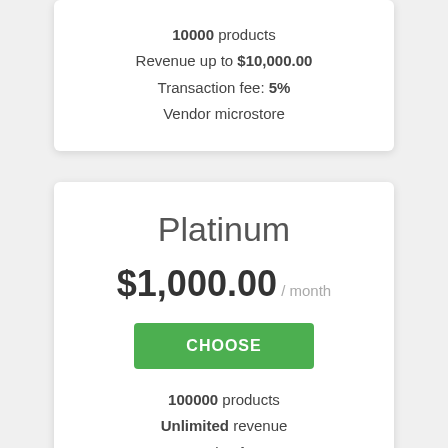10000 products
Revenue up to $10,000.00
Transaction fee: 5%
Vendor microstore
Platinum
$1,000.00 / month
CHOOSE
100000 products
Unlimited revenue
Transaction fee: 1%
Vendor microstore